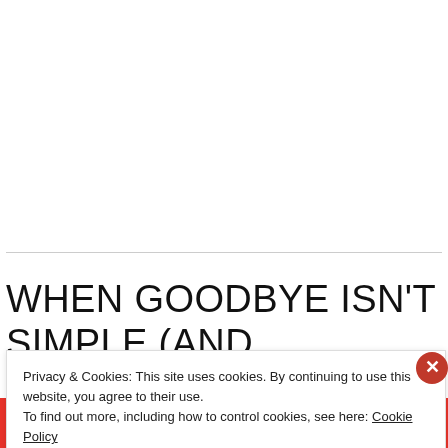WHEN GOODBYE ISN'T SIMPLE (AND PROBABLY
Privacy & Cookies: This site uses cookies. By continuing to use this website, you agree to their use.
To find out more, including how to control cookies, see here: Cookie Policy
Close and accept